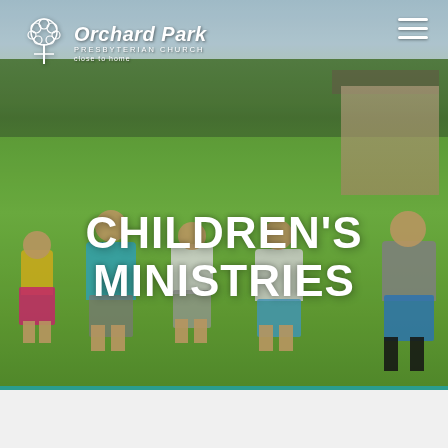[Figure (photo): Outdoor photo of children holding hands in a circle on a green lawn, with trees and a building in the background. The Orchard Park Presbyterian Church logo appears top-left with a tree icon, and a hamburger menu icon appears top-right. The large overlaid text reads 'CHILDREN'S MINISTRIES' in bold white capital letters.]